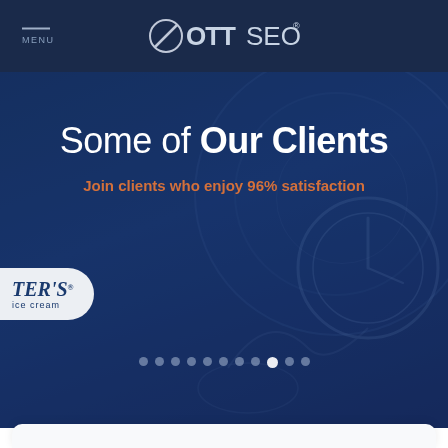MENU | OTTSEO
Some of Our Clients
Join clients who enjoy 96% satisfaction
[Figure (logo): TER'S ice cream client logo shown on a carousel slide]
[Figure (other): Carousel navigation dots, 11 dots with the 9th dot highlighted/active]